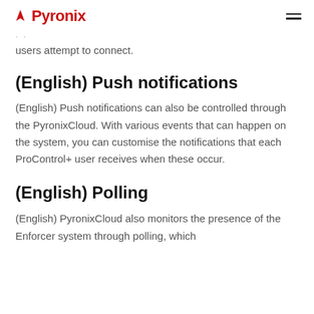Pyronix
users attempt to connect.
(English) Push notifications
(English) Push notifications can also be controlled through the PyronixCloud. With various events that can happen on the system, you can customise the notifications that each ProControl+ user receives when these occur.
(English) Polling
(English) PyronixCloud also monitors the presence of the Enforcer system through polling, which